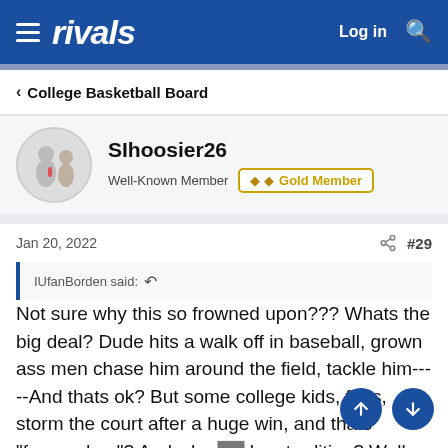rivals | Log in
< College Basketball Board
SIhoosier26
Well-Known Member  Gold Member
Jan 20, 2022  #29
IUfanBorden said:
Not sure why this so frowned upon??? Whats the big deal? Dude hits a walk off in baseball, grown ass men chase him around the field, tackle him-----And thats ok? But some college kids, fans, storm the court after a huge win, and thats "frowned on"? And why- has tradition? Well ****, so do the Yankee's---But I